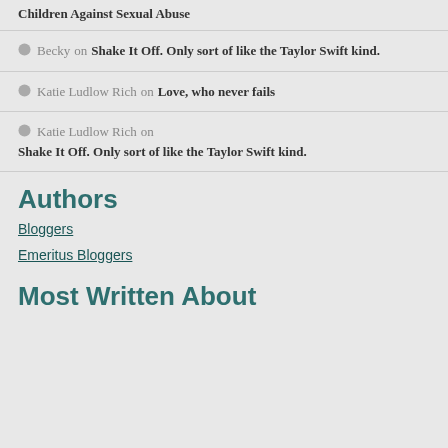Children Against Sexual Abuse
Becky on Shake It Off. Only sort of like the Taylor Swift kind.
Katie Ludlow Rich on Love, who never fails
Katie Ludlow Rich on Shake It Off. Only sort of like the Taylor Swift kind.
Authors
Bloggers
Emeritus Bloggers
Most Written About